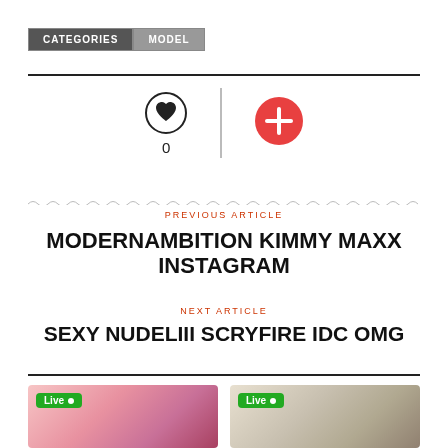CATEGORIES | MODEL
[Figure (infographic): Heart/like icon with 0 count and a red plus button, separated by a vertical divider]
0
PREVIOUS ARTICLE
MODERNAMBITION KIMMY MAXX INSTAGRAM
NEXT ARTICLE
SEXY NUDELIII SCRYFIRE IDC OMG
[Figure (photo): Two live stream thumbnails side by side, each with a green Live badge]
[Figure (photo): Second live stream thumbnail with green Live badge]